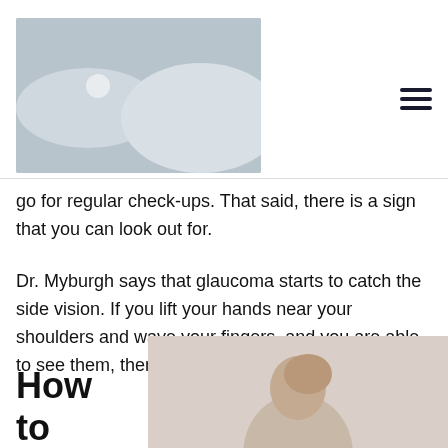[Figure (illustration): Placeholder image with mountain/wave silhouette and a circle (sun/moon) on grey background]
go for regular check-ups. That said, there is a sign that you can look out for.
Dr. Myburgh says that glaucoma starts to catch the side vision. If you lift your hands near your shoulders and wave your fingers, and you are able to see them, then you should be okay.
How to
[Figure (photo): Photo of a person (partial, cropped) on a beige/tan background at bottom right of page]